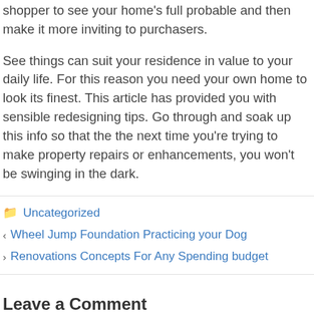shopper to see your home's full probable and then make it more inviting to purchasers.
See things can suit your residence in value to your daily life. For this reason you need your own home to look its finest. This article has provided you with sensible redesigning tips. Go through and soak up this info so that the the next time you're trying to make property repairs or enhancements, you won't be swinging in the dark.
Uncategorized
Wheel Jump Foundation Practicing your Dog
Renovations Concepts For Any Spending budget
Leave a Comment